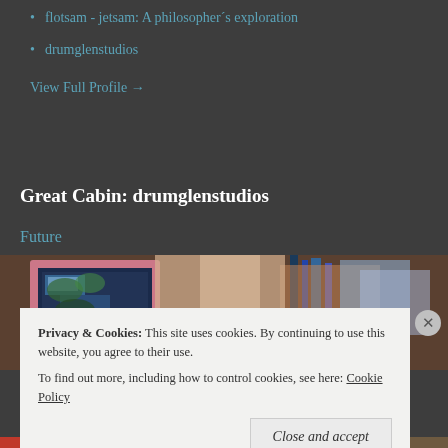flotsam - jetsam: A philosopher´s exploration
drumglenstudios
View Full Profile →
Great Cabin: drumglenstudios
Future
[Figure (photo): Photo of framed artwork and art supplies in a studio setting]
Privacy & Cookies:  This site uses cookies. By continuing to use this website, you agree to their use.
To find out more, including how to control cookies, see here: Cookie Policy
Close and accept